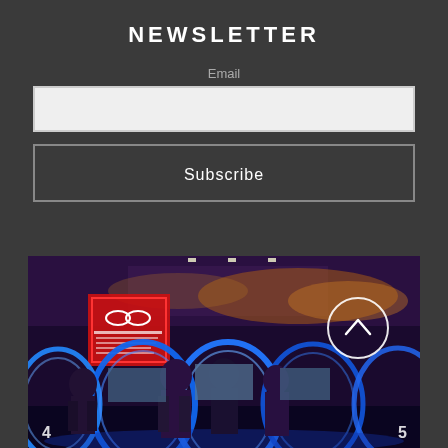NEWSLETTER
Email
[Figure (screenshot): Email input field, light grey rectangle]
Subscribe
[Figure (photo): Indoor gaming arcade with blue neon-lit racing pod machines. Several people stand in front of the machines. A red illuminated sign is visible in the background. Navigation arrows show '4' on the left and '5' on the right. A circular back-to-top button with a chevron up arrow is in the upper right of the image.]